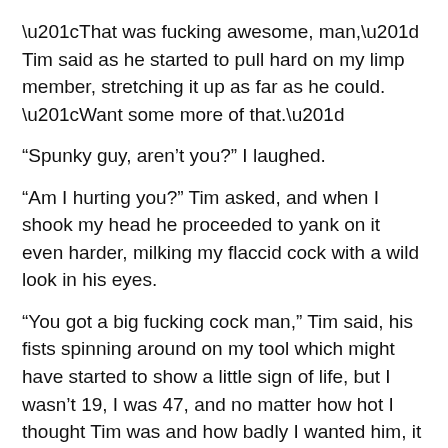“That was fucking awesome, man,” Tim said as he started to pull hard on my limp member, stretching it up as far as he could. “Want some more of that.”
“Spunky guy, aren’t you?” I laughed.
“Am I hurting you?” Tim asked, and when I shook my head he proceeded to yank on it even harder, milking my flaccid cock with a wild look in his eyes.
“You got a big fucking cock man,” Tim said, his fists spinning around on my tool which might have started to show a little sign of life, but I wasn’t 19, I was 47, and no matter how hot I thought Tim was and how badly I wanted him, it was going to be a while before I was going to get hard again.
“You should take Viagra,” Tim commented when I told him he was going to need to be patient. “I want to meet one of these guys who have one of those 4 hour boners. Man, I would be in heaven if I c●d ride